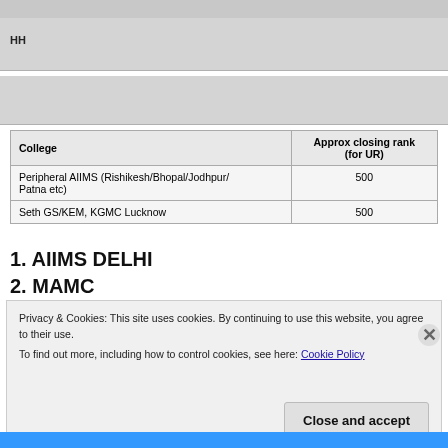HH
| College | Approx closing rank (for UR) |
| --- | --- |
| Peripheral AIIMS (Rishikesh/Bhopal/Jodhpur/Patna etc) | 500 |
| Seth GS/KEM, KGMC Lucknow | 500 |
1. AIIMS DELHI
2. MAMC
Privacy & Cookies: This site uses cookies. By continuing to use this website, you agree to their use.
To find out more, including how to control cookies, see here: Cookie Policy